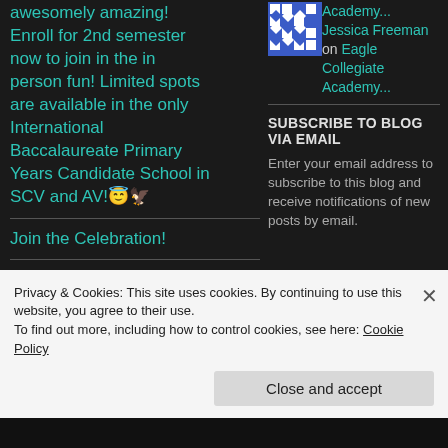awesomely amazing! Enroll for 2nd semester now to join in the in person fun! Limited spots are available in the only International Baccalaureate Primary Years Candidate School in SCV and AV!😇🦅
Join the Celebration!
[Figure (illustration): Blue and white geometric/quilt pattern avatar image for Jessica Freeman]
Academy... Jessica Freeman on Eagle Collegiate Academy...
SUBSCRIBE TO BLOG VIA EMAIL
Enter your email address to subscribe to this blog and receive notifications of new posts by email.
Privacy & Cookies: This site uses cookies. By continuing to use this website, you agree to their use.
To find out more, including how to control cookies, see here: Cookie Policy
Close and accept